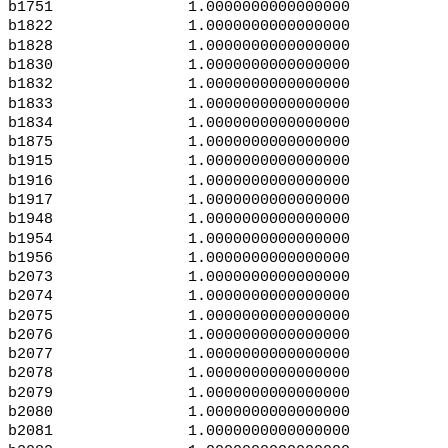| id | value |
| --- | --- |
| b1751 | 1.0000000000000000 |
| b1822 | 1.0000000000000000 |
| b1828 | 1.0000000000000000 |
| b1830 | 1.0000000000000000 |
| b1832 | 1.0000000000000000 |
| b1833 | 1.0000000000000000 |
| b1834 | 1.0000000000000000 |
| b1875 | 1.0000000000000000 |
| b1915 | 1.0000000000000000 |
| b1916 | 1.0000000000000000 |
| b1917 | 1.0000000000000000 |
| b1948 | 1.0000000000000000 |
| b1954 | 1.0000000000000000 |
| b1956 | 1.0000000000000000 |
| b2073 | 1.0000000000000000 |
| b2074 | 1.0000000000000000 |
| b2075 | 1.0000000000000000 |
| b2076 | 1.0000000000000000 |
| b2077 | 1.0000000000000000 |
| b2078 | 1.0000000000000000 |
| b2079 | 1.0000000000000000 |
| b2080 | 1.0000000000000000 |
| b2081 | 1.0000000000000000 |
| b2082 | 1.0000000000000000 |